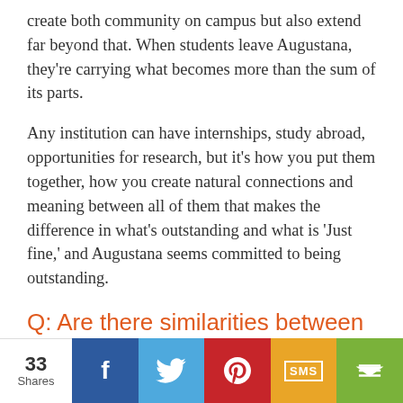create both community on campus but also extend far beyond that. When students leave Augustana, they're carrying what becomes more than the sum of its parts.
Any institution can have internships, study abroad, opportunities for research, but it's how you put them together, how you create natural connections and meaning between all of them that makes the difference in what's outstanding and what is 'Just fine,' and Augustana seems committed to being outstanding.
Q: Are there similarities between N... th Coll... and August...